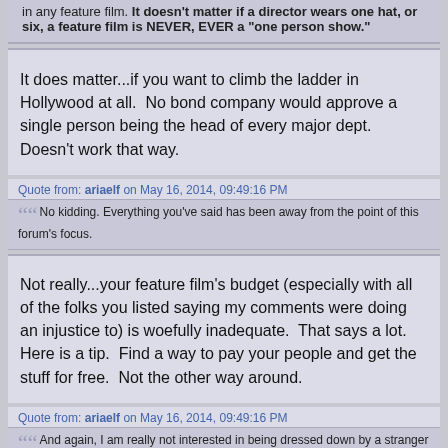in any feature film. It doesn't matter if a director wears one hat, or six, a feature film is NEVER, EVER a "one person show."
It does matter...if you want to climb the ladder in Hollywood at all.  No bond company would approve a single person being the head of every major dept.  Doesn't work that way.
Quote from: ariaelf on May 16, 2014, 09:49:16 PM
No kidding. Everything you've said has been away from the point of this forum's focus.
Not really...your feature film's budget (especially with all of the folks you listed saying my comments were doing an injustice to) is woefully inadequate.  That says a lot.  Here is a tip.  Find a way to pay your people and get the stuff for free.  Not the other way around.
Quote from: ariaelf on May 16, 2014, 09:49:16 PM
And again, I am really not interested in being dressed down by a stranger because "so many film makers" fail to properly budget for post-production or don't understand the importance of sound. Please don't assume things about me, or this production without actually having ANY facts. Good manners would be first asking a question ("how are you doing your sound?" or "how are you doing your post production?") not presuming I am an idiot because you've run into some idiots.